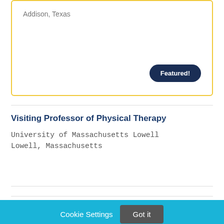Addison, Texas
Featured!
Visiting Professor of Physical Therapy
University of Massachusetts Lowell
Lowell, Massachusetts
Cookie Settings
Got it
We use cookies so that we can remember you and understand how you use our site. If you do not agree with our use of cookies, please change the current settings found in our Cookie Policy. Otherwise, you agree to the use of the cookies as they are currently set.